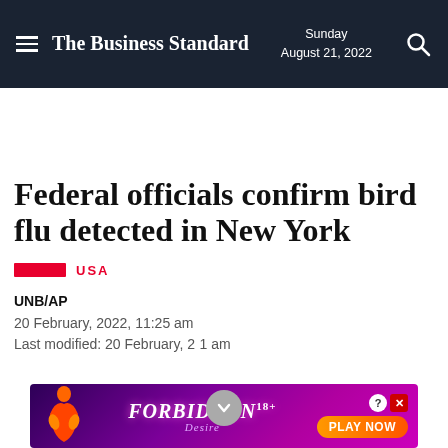The Business Standard — Sunday August 21, 2022
Federal officials confirm bird flu detected in New York
USA
UNB/AP
20 February, 2022, 11:25 am
Last modified: 20 February, 2022, 11:31 am
[Figure (illustration): Advertisement banner: Forbidden Desire 18+ Play Now]